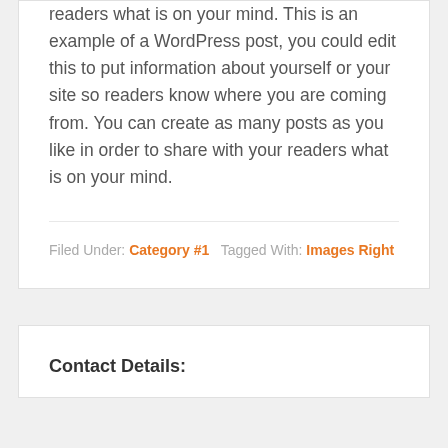readers what is on your mind. This is an example of a WordPress post, you could edit this to put information about yourself or your site so readers know where you are coming from. You can create as many posts as you like in order to share with your readers what is on your mind.
Filed Under: Category #1   Tagged With: Images Right
Contact Details: